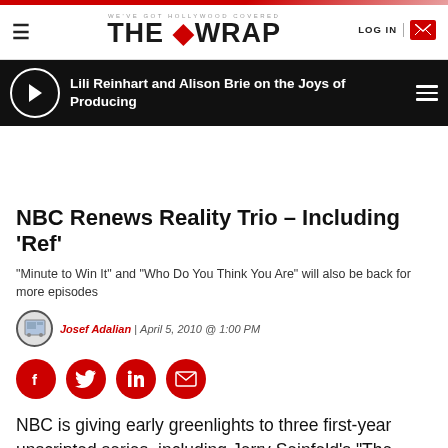WE'VE GOT HOLLYWOOD COVERED | THE WRAP | LOG IN
Lili Reinhart and Alison Brie on the Joys of Producing
NBC Renews Reality Trio – Including 'Ref'
“Minute to Win It” and “Who Do You Think You Are” will also be back for more episodes
Josef Adalian | April 5, 2010 @ 1:00 PM
NBC is giving early greenlights to three first-year unscripted series, including Jerry Seinfeld’s "The